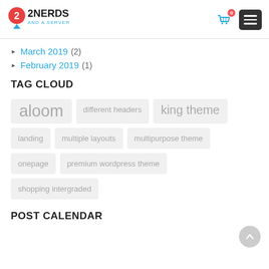2NERDS AND A SERVER — site header with logo, cart (0), and menu button
March 2019 (2)
February 2019 (1)
TAG CLOUD
aloom | different headers | king theme | landing | multiple layouts | multipurpose theme | onepage | premium wordpress theme | shopping intergraded
POST CALENDAR